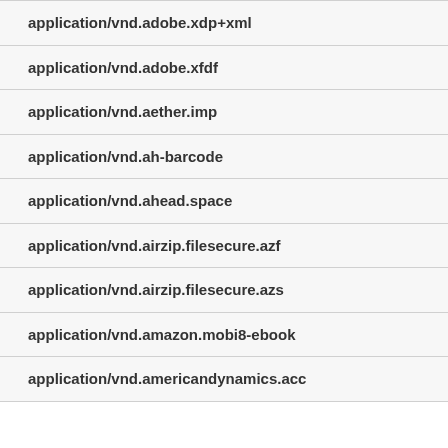application/vnd.adobe.xdp+xml
application/vnd.adobe.xfdf
application/vnd.aether.imp
application/vnd.ah-barcode
application/vnd.ahead.space
application/vnd.airzip.filesecure.azf
application/vnd.airzip.filesecure.azs
application/vnd.amazon.mobi8-ebook
application/vnd.americandynamics.acc